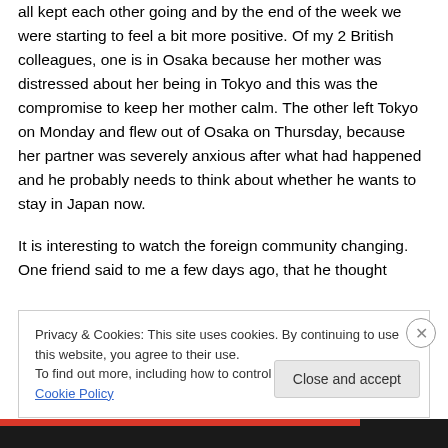all kept each other going and by the end of the week we were starting to feel a bit more positive. Of my 2 British colleagues, one is in Osaka because her mother was distressed about her being in Tokyo and this was the compromise to keep her mother calm. The other left Tokyo on Monday and flew out of Osaka on Thursday, because her partner was severely anxious after what had happened and he probably needs to think about whether he wants to stay in Japan now.
It is interesting to watch the foreign community changing. One friend said to me a few days ago, that he thought
Privacy & Cookies: This site uses cookies. By continuing to use this website, you agree to their use.
To find out more, including how to control cookies, see here: Cookie Policy
Close and accept